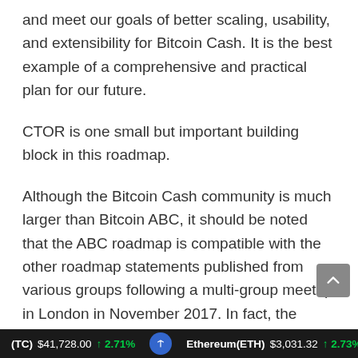and meet our goals of better scaling, usability, and extensibility for Bitcoin Cash. It is the best example of a comprehensive and practical plan for our future.
CTOR is one small but important building block in this roadmap.
Although the Bitcoin Cash community is much larger than Bitcoin ABC, it should be noted that the ABC roadmap is compatible with the other roadmap statements published from various groups following a multi-group meetup in London in November 2017. In fact, the exact same canonical ordering proposal appeared
(TC) $41,728.00 ↑ 2.71%   Ethereum(ETH) $3,031.32 ↑ 2.73%   T